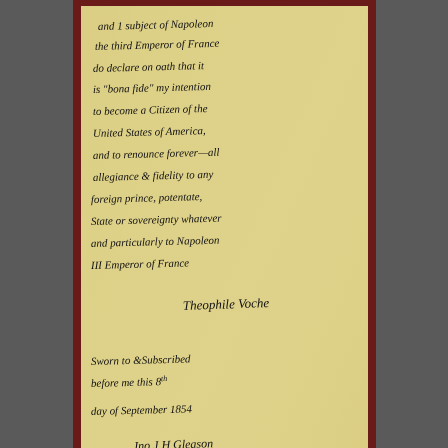[Figure (photo): A photograph of a framed historical handwritten document on aged parchment paper. The document appears to be a naturalization declaration or oath of allegiance, mentioning Napoleon III Emperor of France, signed 'Theophile Voche' and witnessed before 'Jno J H Gleason, County Clerk' on the 8th day of September 1854. The frame is dark reddish-brown wood.]
Someone got an "A" in penmanship.
[Figure (photo): Partial view of another historical photograph or document at the bottom of the page, showing dark tones with some lighter areas and partial text 'MA' visible on the right side.]